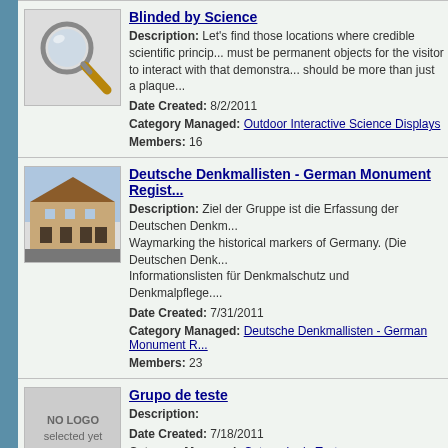[Figure (illustration): Magnifying glass icon for Blinded by Science group]
Blinded by Science
Description: Let's find those locations where credible scientific principles must be permanent objects for the visitor to interact with that demonstrates should be more than just a plaque...
Date Created: 8/2/2011
Category Managed: Outdoor Interactive Science Displays
Members: 16
[Figure (photo): Photo of a German historic building for Deutsche Denkmallisten group]
Deutsche Denkmallisten - German Monument Regist...
Description: Ziel der Gruppe ist die Erfassung der Deutschen Denkm... Waymarking the historical markers of Germany. (Die Deutschen Denk... Informationslisten für Denkmalschutz und Denkmalpflege....
Date Created: 7/31/2011
Category Managed: Deutsche Denkmallisten - German Monument R...
Members: 23
[Figure (illustration): No Logo selected yet placeholder image for Grupo de teste]
Grupo de teste
Description:
Date Created: 7/18/2011
Category Managed: Categoria de Teste
Members: 3
[Figure (illustration): National Recreation Trails logo image]
National Recreation Trails
Description: The National Trail System Act of 1968 (Public Law 90-5...